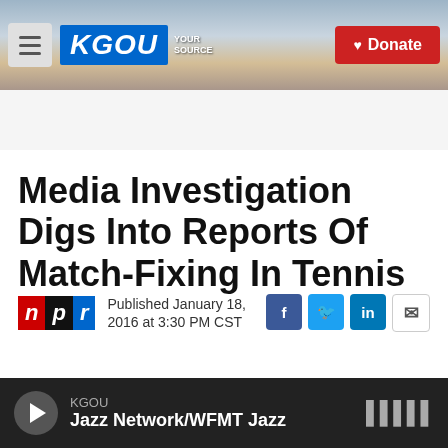KGOU — Donate
Media Investigation Digs Into Reports Of Match-Fixing In Tennis
Published January 18, 2016 at 3:30 PM CST
LISTEN  3:16
KGOU — Jazz Network/WFMT Jazz